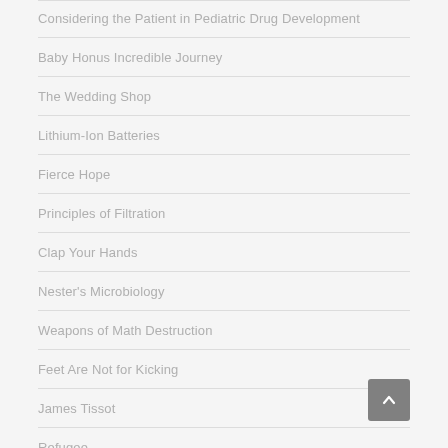Considering the Patient in Pediatric Drug Development
Baby Honus Incredible Journey
The Wedding Shop
Lithium-Ion Batteries
Fierce Hope
Principles of Filtration
Clap Your Hands
Nester's Microbiology
Weapons of Math Destruction
Feet Are Not for Kicking
James Tissot
Refugee